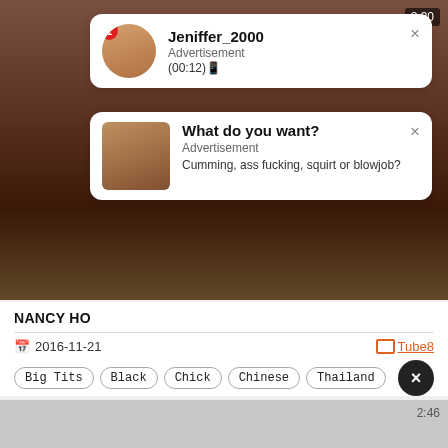[Figure (screenshot): Video player showing adult content thumbnail, dark brownish tones]
Jeniffer_2000
Advertisement
(00:12)
What do you want?
Advertisement
Cumming, ass fucking, squirt or blowjob?
NANCY HO
2016-11-21
Tube8
Big Tits
Black
Chick
Chinese
Thailand
[Figure (screenshot): Bottom video thumbnail, grayscale/light gray]